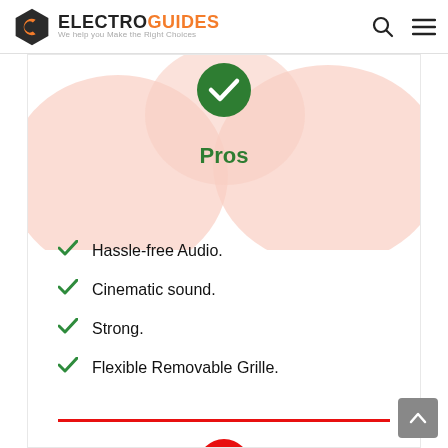ELECTROGUIDES - We help you Make the Right Choices
[Figure (illustration): Green circle with white checkmark icon]
Pros
Hassle-free Audio.
Cinematic sound.
Strong.
Flexible Removable Grille.
[Figure (illustration): Red circle with white X icon indicating Cons section]